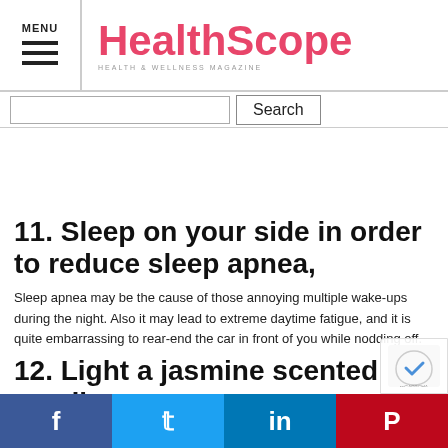HealthScope — Health & Wellness Magazine
11. Sleep on your side in order to reduce sleep apnea,
Sleep apnea may be the cause of those annoying multiple wake-ups during the night. Also it may lead to extreme daytime fatigue, and it is quite embarrassing to rear-end the car in front of you while nodding off.
12. Light a jasmine scented candle.